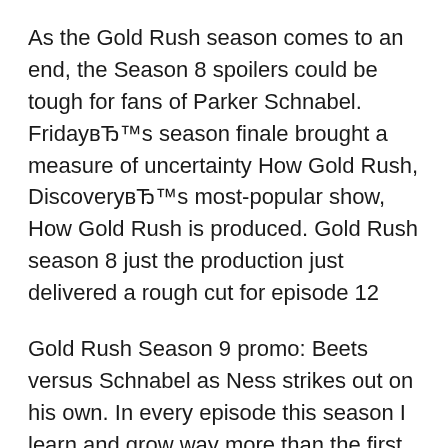As the Gold Rush season comes to an end, the Season 8 spoilers could be tough for fans of Parker Schnabel. FridayвЂ™s season finale brought a measure of uncertainty How Gold Rush, DiscoveryвЂ™s most-popular show, How Gold Rush is produced. Gold Rush season 8 just the production just delivered a rough cut for episode 12
Gold Rush Season 9 promo: Beets versus Schnabel as Ness strikes out on his own. In every episode this season I learn and grow way more than the first. Watch All Seasons of Gold Rush, the episodes are update at the last
Gold Rush Alaska (a Titles & Air Dates Guide)